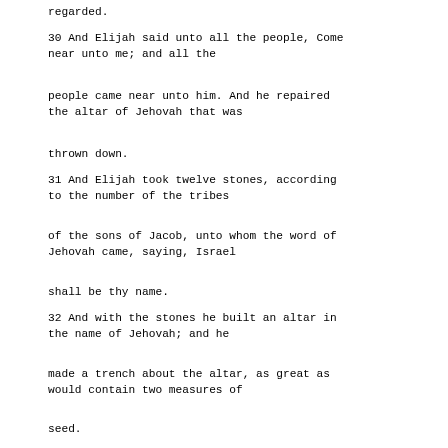regarded.
30 And Elijah said unto all the people, Come near unto me; and all the
people came near unto him. And he repaired the altar of Jehovah that was
thrown down.
31 And Elijah took twelve stones, according to the number of the tribes
of the sons of Jacob, unto whom the word of Jehovah came, saying, Israel
shall be thy name.
32 And with the stones he built an altar in the name of Jehovah; and he
made a trench about the altar, as great as would contain two measures of
seed.
33 And he put the wood in order, and cut the bullock in pieces, and laid
it on the wood. And he said, Fill four jars with water, and pour it on the